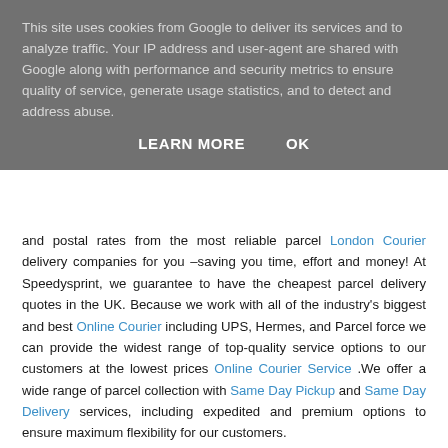This site uses cookies from Google to deliver its services and to analyze traffic. Your IP address and user-agent are shared with Google along with performance and security metrics to ensure quality of service, generate usage statistics, and to detect and address abuse.
LEARN MORE   OK
and postal rates from the most reliable parcel London Courier delivery companies for you –saving you time, effort and money! At Speedysprint, we guarantee to have the cheapest parcel delivery quotes in the UK. Because we work with all of the industry's biggest and best Online Courier including UPS, Hermes, and Parcel force we can provide the widest range of top-quality service options to our customers at the lowest prices Online Courier Service .We offer a wide range of parcel collection with Same Day Pickup and Same Day Delivery services, including expedited and premium options to ensure maximum flexibility for our customers.
Reply